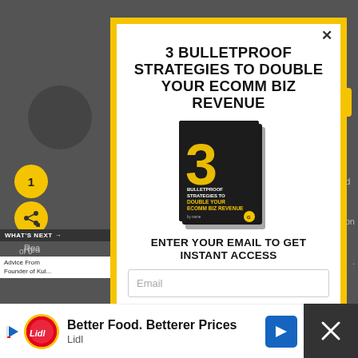[Figure (screenshot): Website screenshot background showing partial article text and social sharing sidebar]
3 BULLETPROOF STRATEGIES TO DOUBLE YOUR ECOMM BIZ REVENUE
[Figure (photo): Book cover: '3 Bulletproof Strategies to Double Your Ecomm Biz Revenue' — dark cover with large yellow number 3]
ENTER YOUR EMAIL TO GET INSTANT ACCESS
Email
[Figure (screenshot): Bottom advertisement bar: Better Food. Betterer Prices — Lidl]
Better Food. Betterer Prices
Lidl